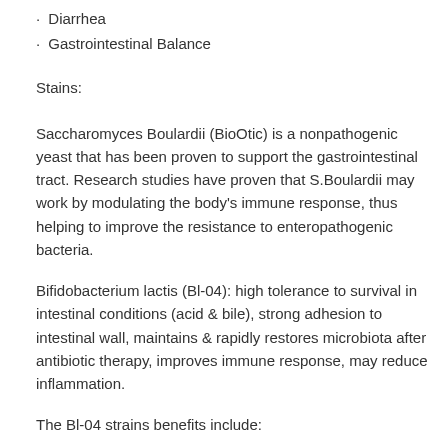• Diarrhea
• Gastrointestinal Balance
Stains:
Saccharomyces Boulardii (BioOtic) is a nonpathogenic yeast that has been proven to support the gastrointestinal tract. Research studies have proven that S.Boulardii may work by modulating the body's immune response, thus helping to improve the resistance to enteropathogenic bacteria.
Bifidobacterium lactis (Bl-04): high tolerance to survival in intestinal conditions (acid & bile), strong adhesion to intestinal wall, maintains & rapidly restores microbiota after antibiotic therapy, improves immune response, may reduce inflammation.
The Bl-04 strains benefits include: